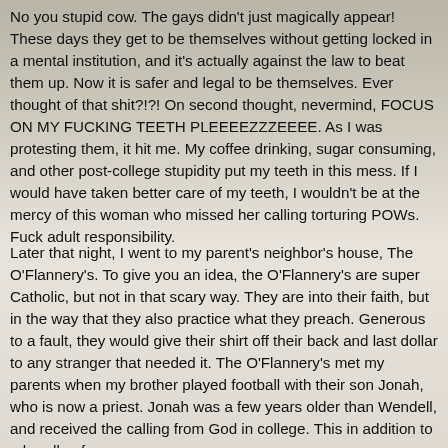No you stupid cow. The gays didn't just magically appear! These days they get to be themselves without getting locked in a mental institution, and it's actually against the law to beat them up. Now it is safer and legal to be themselves. Ever thought of that shit?!?! On second thought, nevermind, FOCUS ON MY FUCKING TEETH PLEEEEZZZEEEE. As I was protesting them, it hit me. My coffee drinking, sugar consuming, and other post-college stupidity put my teeth in this mess. If I would have taken better care of my teeth, I wouldn't be at the mercy of this woman who missed her calling torturing POWs. Fuck adult responsibility.
Later that night, I went to my parent's neighbor's house, The O'Flannery's. To give you an idea, the O'Flannery's are super Catholic, but not in that scary way. They are into their faith, but in the way that they also practice what they preach. Generous to a fault, they would give their shirt off their back and last dollar to any stranger that needed it. The O'Flannery's met my parents when my brother played football with their son Jonah, who is now a priest. Jonah was a few years older than Wendell, and received the calling from God in college. This in addition to a bundle of